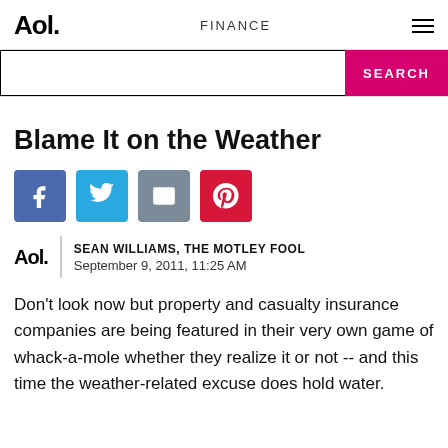Aol. | FINANCE | ☰
[Figure (other): Search bar with pink SEARCH button]
Blame It on the Weather
[Figure (infographic): Social sharing buttons: Facebook, Twitter, Email, Pinterest]
SEAN WILLIAMS, THE MOTLEY FOOL
September 9, 2011, 11:25 AM
Don't look now but property and casualty insurance companies are being featured in their very own game of whack-a-mole whether they realize it or not -- and this time the weather-related excuse does hold water.